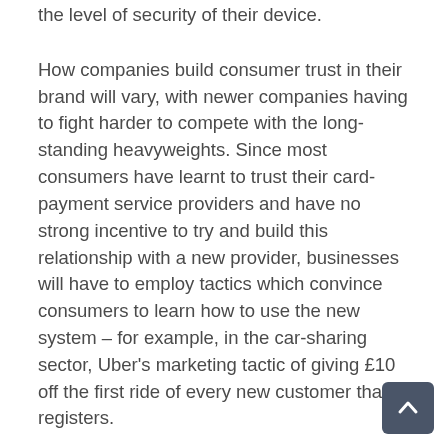the level of security of their device.
How companies build consumer trust in their brand will vary, with newer companies having to fight harder to compete with the long-standing heavyweights. Since most consumers have learnt to trust their card-payment service providers and have no strong incentive to try and build this relationship with a new provider, businesses will have to employ tactics which convince consumers to learn how to use the new system – for example, in the car-sharing sector, Uber's marketing tactic of giving £10 off the first ride of every new customer that registers.
Over-arching regulation may also help imbue new m-payment services with more legitimacy in the e